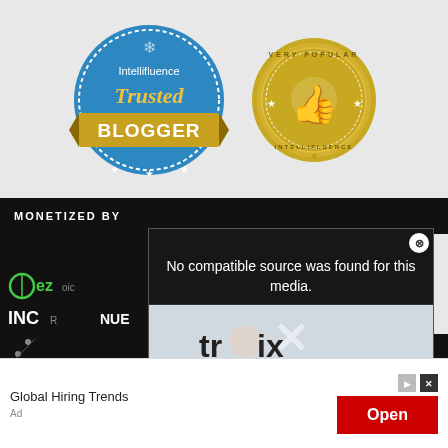[Figure (logo): Intellifluence Trusted Blogger badge - circular blue badge with gold ribbon]
[Figure (logo): Intellifluence Very Popular badge - circular gold badge with thumbs up]
MONETIZED BY
[Figure (screenshot): Ezoic ad increase revenue panel on left, video popup overlay with tronix imaging center photo and 'No compatible source was found for this media.' message with X close button]
know more about Ezoic HERE
[Figure (screenshot): Footer black bar with social media icons: RSS, Facebook, YouTube, Instagram, Pinterest, Twitter]
[Figure (screenshot): Global Hiring Trends advertisement banner with Open button]